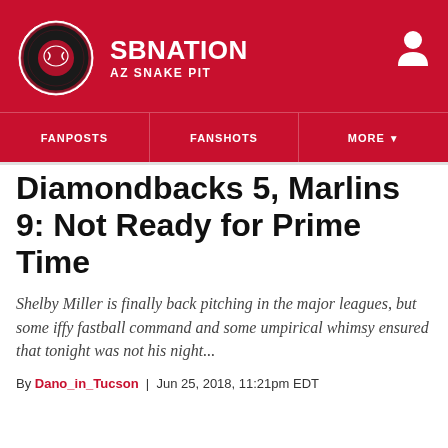SBNATION / AZ SNAKE PIT
Diamondbacks 5, Marlins 9: Not Ready for Prime Time
Shelby Miller is finally back pitching in the major leagues, but some iffy fastball command and some umpirical whimsy ensured that tonight was not his night...
By Dano_in_Tucson | Jun 25, 2018, 11:21pm EDT